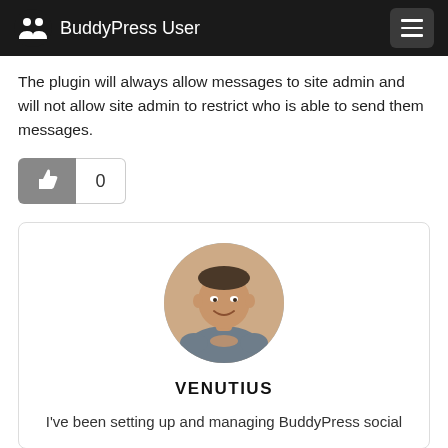BuddyPress User
The plugin will always allow messages to site admin and will not allow site admin to restrict who is able to send them messages.
[Figure (other): Like/thumbs-up button with count box showing 0]
[Figure (photo): Circular avatar photo of a man (Venutius) smiling, wearing a grey sweatshirt, holding food, in what appears to be a restaurant setting]
VENUTIUS
I've been setting up and managing BuddyPress social